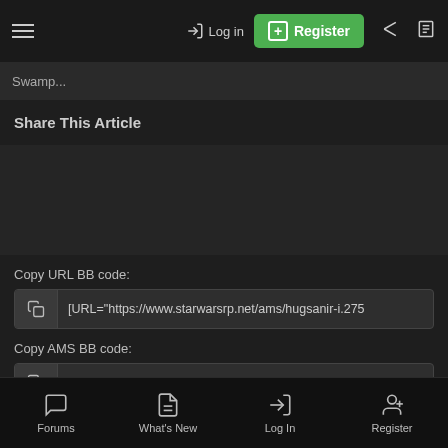≡  Log in  Register
Swamp...
Share This Article
Copy URL BB code:
[URL="https://www.starwarsrp.net/ams/hugsanir-i.275
Copy AMS BB code:
[AMS=article, 2752][/AMS]
Articles  Blogs
Forums  What's New  Log In  Register